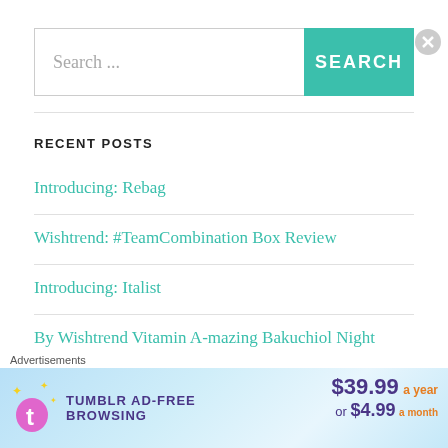[Figure (screenshot): Search bar with text 'Search ...' and a teal SEARCH button]
RECENT POSTS
Introducing: Rebag
Wishtrend: #TeamCombination Box Review
Introducing: Italist
By Wishtrend Vitamin A-mazing Bakuchiol Night Cream
[Figure (screenshot): Tumblr Ad-Free Browsing advertisement banner: $39.99 a year or $4.99 a month, with Tumblr logo and sparkle icons, on a blue gradient background]